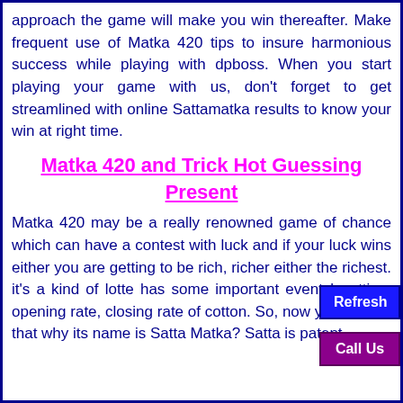approach the game will make you win thereafter. Make frequent use of Matka 420 tips to insure harmonious success while playing with dpboss. When you start playing your game with us, don't forget to get streamlined with online Sattamatka results to know your win at right time.
Matka 420 and Trick Hot Guessing Present
Matka 420 may be a really renowned game of chance which can have a contest with luck and if your luck wins either you are getting to be rich, richer either the richest. it's a kind of lotte... has some important eventsb, etting, opening rate, closing rate of cotton. So, now you are su... that why its name is Satta Matka? Satta is patent